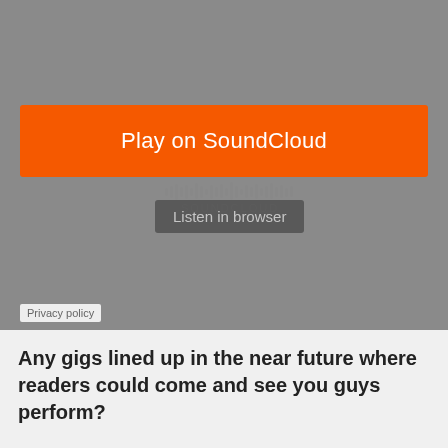[Figure (screenshot): SoundCloud embedded player with orange 'Play on SoundCloud' button, waveform graphic with SOUNDCLOUD logo text, and a dark 'Listen in browser' button, all on a grey background]
Privacy policy
Any gigs lined up in the near future where readers could come and see you guys perform?